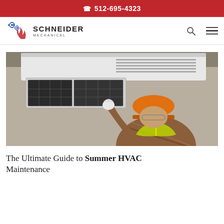512-695-4323
[Figure (logo): Schneider Mechanical logo with stylized blue and red figure and gears]
[Figure (photo): HVAC technician in orange hard hat and yellow reflective vest removing a dirty air filter from a wall-mounted air conditioning unit]
The Ultimate Guide to Summer HVAC Maintenance